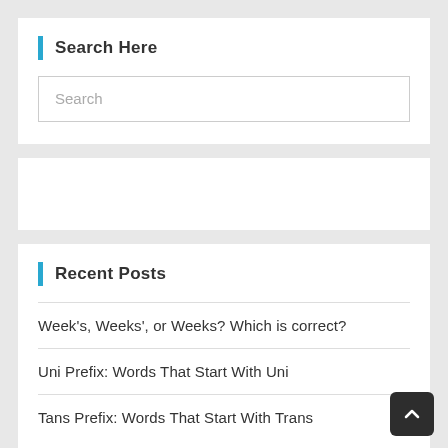Search Here
Search
Recent Posts
Week's, Weeks', or Weeks? Which is correct?
Uni Prefix: Words That Start With Uni
Tans Prefix: Words That Start With Trans